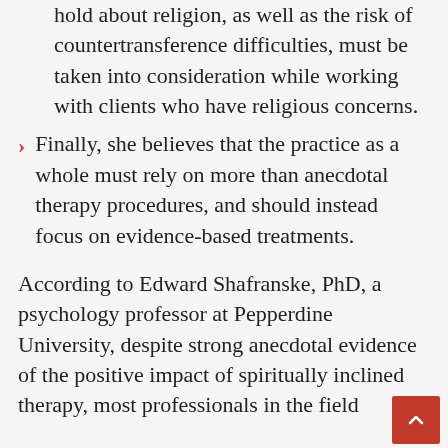hold about religion, as well as the risk of countertransference difficulties, must be taken into consideration while working with clients who have religious concerns.
Finally, she believes that the practice as a whole must rely on more than anecdotal therapy procedures, and should instead focus on evidence-based treatments.
According to Edward Shafranske, PhD, a psychology professor at Pepperdine University, despite strong anecdotal evidence of the positive impact of spiritually inclined therapy, most professionals in the field